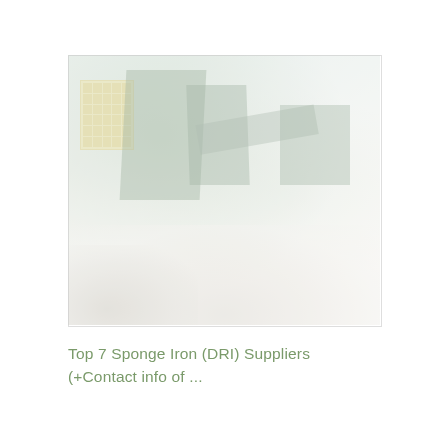[Figure (photo): Faded/washed-out photograph of an industrial scene showing heavy machinery, green industrial structures, and large piles of material (likely sponge iron or DRI) at a processing facility. A yellow grid-like sign is visible on the left side of the image.]
Top 7 Sponge Iron (DRI) Suppliers (+Contact info of ...